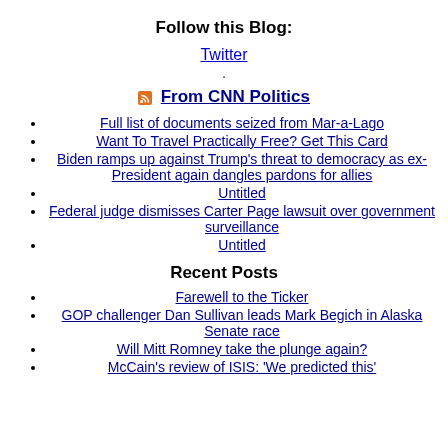Follow this Blog:
Twitter
.
From CNN Politics
Full list of documents seized from Mar-a-Lago
Want To Travel Practically Free? Get This Card
Biden ramps up against Trump's threat to democracy as ex-President again dangles pardons for allies
Untitled
Federal judge dismisses Carter Page lawsuit over government surveillance
Untitled
Recent Posts
Farewell to the Ticker
GOP challenger Dan Sullivan leads Mark Begich in Alaska Senate race
Will Mitt Romney take the plunge again?
McCain's review of ISIS: 'We predicted this'